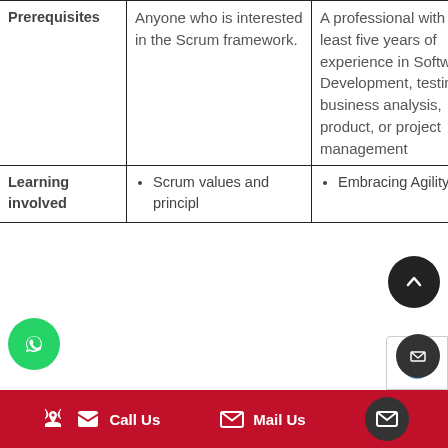|  | Prerequisites |  |
| --- | --- | --- |
| Prerequisites | Anyone who is interested in the Scrum framework. | A professional with at least five years of experience in Software Development, testing, business analysis, product, or project management |
| Learning involved | • Scrum values and principl | • Embracing Agility and |
Call Us   Mail Us